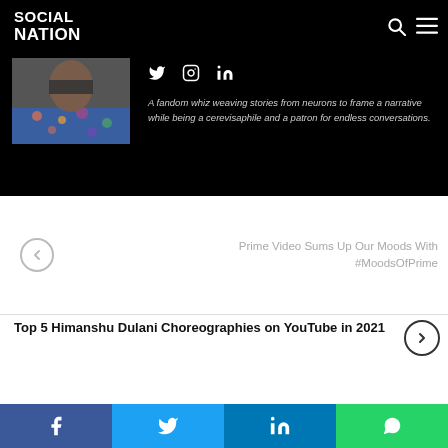Social Nation
[Figure (photo): Profile photo of a person wearing a floral shirt, face obscured]
A fandom whiz weaving stories from neurons to frame a narrative while being a cerevisaphile and a patron for endless conversations.
Prime Video Sums Up Our Moods With #MoodsOfPrime
Top 5 Himanshu Dulani Choreographies on YouTube in 2021
Facebook  Twitter  LinkedIn  WhatsApp share buttons